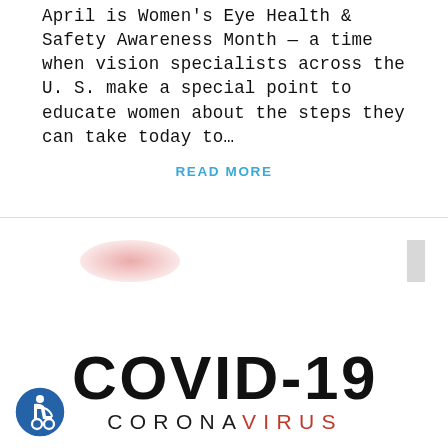April is Women's Eye Health & Safety Awareness Month — a time when vision specialists across the U. S. make a special point to educate women about the steps they can take today to…
READ MORE
[Figure (illustration): COVID-19 coronavirus graphic with large bold 'COVID-19' text and 'CORONAVIRUS' subtitle, decorative red blob and gray rectangle in background]